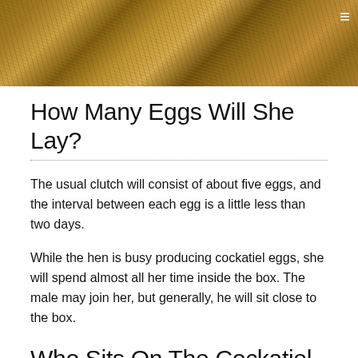[Figure (photo): Close-up photo of dry straw or hay nest material, brown tangled fibers, with a hamburger menu icon in the top right corner]
How Many Eggs Will She Lay?
The usual clutch will consist of about five eggs, and the interval between each egg is a little less than two days.
While the hen is busy producing cockatiel eggs, she will spend almost all her time inside the box. The male may join her, but generally, he will sit close to the box.
Who Sits On The Cockatiel Eggs?